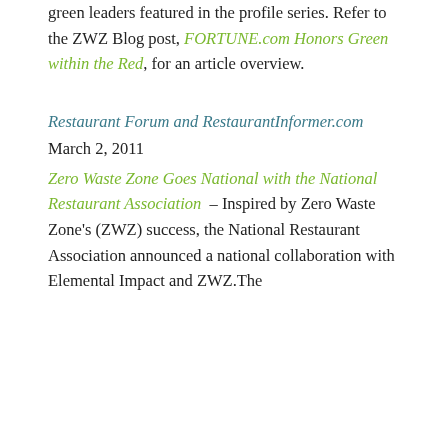green leaders featured in the profile series. Refer to the ZWZ Blog post, FORTUNE.com Honors Green within the Red, for an article overview.
Restaurant Forum and RestaurantInformer.com
March 2, 2011
Zero Waste Zone Goes National with the National Restaurant Association – Inspired by Zero Waste Zone's (ZWZ) success, the National Restaurant Association announced a national collaboration with Elemental Impact and ZWZ.The